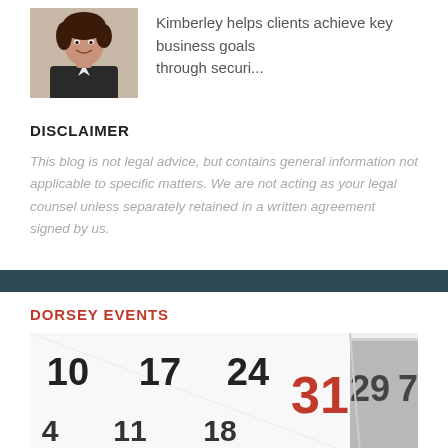[Figure (photo): Professional headshot of a woman (Kimberley) in business attire, smiling]
Kimberley helps clients achieve key business goals through securi...
DISCLAIMER
This blog is not legal advice, but contains general information not applicable to specific matters. We are not acting as your legal counsel unless separately retained in a written agreement signed by us.
DORSEY EVENTS
[Figure (photo): Close-up photo of a calendar showing dates including 10, 17, 24, 31 (in red), 29, 7 and partial dates 4, 11, 18]